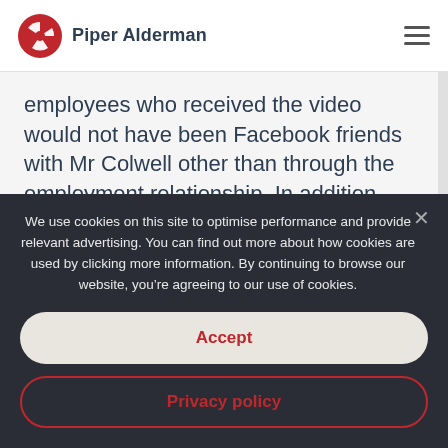Piper Alderman
employees who received the video would not have been Facebook friends with Mr Colwell other than through the employment relationship. In addition, Commissioner McKenna went on to determine, this created the relevant nexus between the workplace and what would
We use cookies on this site to optimise performance and provide relevant advertising. You can find out more about how cookies are used by clicking more information. By continuing to browse our website, you’re agreeing to our use of cookies.
Accept
Privacy policy